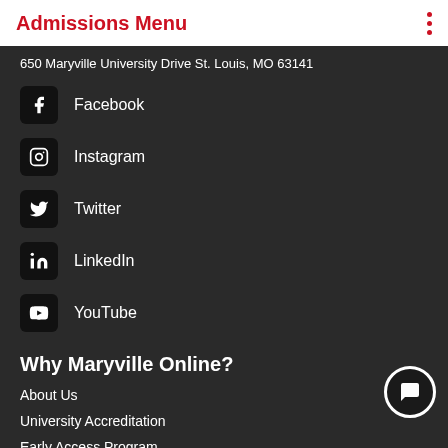Admissions Menu
650 Maryville University Drive St. Louis, MO 63141
Facebook
Instagram
Twitter
LinkedIn
YouTube
Why Maryville Online?
About Us
University Accreditation
Early Access Program
Online Interactive Learning Tools
Faculty
The Maryville Approach
Tales of the Brave
Online Degree Programs